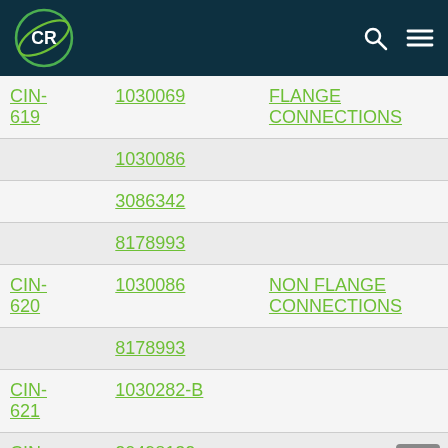CR logo, search icon, menu icon
| CIN | Part Number | Description |
| --- | --- | --- |
| CIN-619 | 1030069 | FLANGE CONNECTIONS |
|  | 1030086 |  |
|  | 3086342 |  |
|  | 8178993 |  |
| CIN-620 | 1030086 | NON FLANGE CONNECTIONS |
|  | 8178993 |  |
| CIN-621 | 1030282-B |  |
| CIN-622 | 20498132 |  |